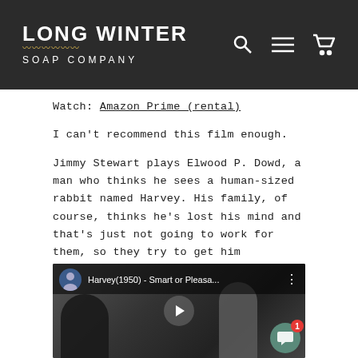[Figure (logo): Long Winter Soap Company logo with wheat graphic on dark header bar, plus search, menu, and cart icons]
Watch: Amazon Prime (rental)
I can't recommend this film enough.
Jimmy Stewart plays Elwood P. Dowd, a man who thinks he sees a human-sized rabbit named Harvey. His family, of course, thinks he's lost his mind and that's just not going to work for them, so they try to get him committed to a mental hospital. Elwood is so kind, so gentle, so eager to get along that he's more than happy to oblige.
[Figure (screenshot): Embedded YouTube video thumbnail showing Harvey (1950) - Smart or Pleasa... with a black and white movie scene of two men talking, a play button overlay, and a chat bubble with badge showing 1]